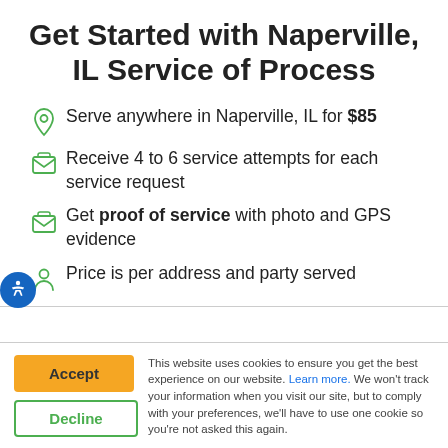Get Started with Naperville, IL Service of Process
Serve anywhere in Naperville, IL for $85
Receive 4 to 6 service attempts for each service request
Get proof of service with photo and GPS evidence
Price is per address and party served
This website uses cookies to ensure you get the best experience on our website. Learn more. We won't track your information when you visit our site, but to comply with your preferences, we'll have to use one cookie so you're not asked this again.